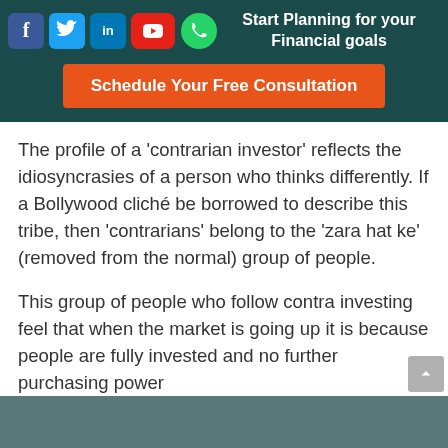Start Planning for your Financial goals
[Figure (infographic): Social media icons: Facebook, Twitter, LinkedIn, YouTube, WhatsApp]
Schedule Your Free Consultation
The profile of a ‘contrarian investor’ reflects the idiosyncrasies of a person who thinks differently. If a Bollywood cliché be borrowed to describe this tribe, then ‘contrarians’ belong to the ‘zara hat ke’ (removed from the normal) group of people.
This group of people who follow contra investing feel that when the market is going up it is because people are fully invested and no further purchasing power